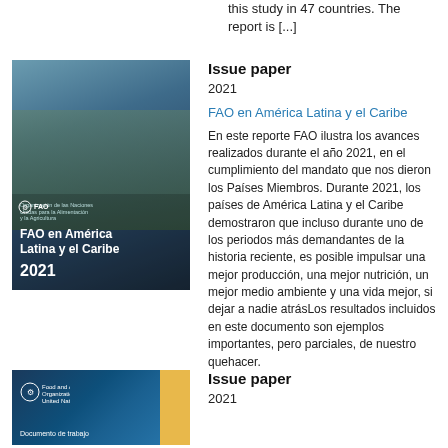this study in 47 countries. The report is [...]
[Figure (photo): Cover of FAO en América Latina y el Caribe 2021 report, showing two people holding coffee beans]
Issue paper
2021
FAO en América Latina y el Caribe
En este reporte FAO ilustra los avances realizados durante el año 2021, en el cumplimiento del mandato que nos dieron los Países Miembros. Durante 2021, los países de América Latina y el Caribe demostraron que incluso durante uno de los periodos más demandantes de la historia reciente, es posible impulsar una mejor producción, una mejor nutrición, un mejor medio ambiente y una vida mejor, si dejar a nadie atrásLos resultados incluidos en este documento son ejemplos importantes, pero parciales, de nuestro quehacer.
[Figure (photo): Cover of a second FAO document with blue and yellow design]
Issue paper
2021